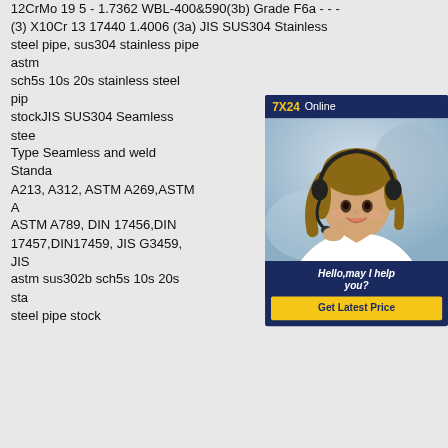12CrMo 19 5 - 1.7362 WBL-400&590(3b) Grade F6a - - - (3) X10Cr 13 17440 1.4006 (3a) JIS SUS304 Stainless steel pipe, sus304 stainless pipe astm sch5s 10s 20s stainless steel pipe stockJIS SUS304 Seamless steel Type Seamless and weld Standard A213, A312, ASTM A269,ASTM A ASTM A789, DIN 17456,DIN 17457,DIN17459, JIS G3459, JIS astm sus302b sch5s 10s 20s stainless steel pipe stock
[Figure (photo): Customer service chat widget with a woman wearing a headset. Header shows '7X24 Online' in yellow and white text on dark blue background. Photo of woman smiling with headset. Below photo is dark blue panel with italic text 'Hello,may I help you?' and a yellow button 'Get Latest Price'.]
How big is a Sch 5s stainless steel pipe?
How big is a Sch 5s stainless steel pipe?
Stainless steel pipes SCH 5S, chart, dimensions, weight and pipe wall